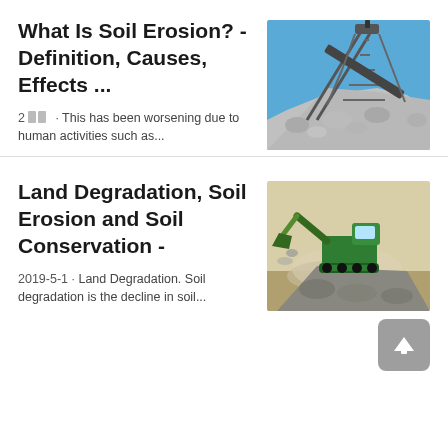What Is Soil Erosion? - Definition, Causes, Effects ...
2 □□ · This has been worsening due to human activities such as...
[Figure (photo): Photo of a large industrial conveyor belt or mining structure over a pile of crushed white rock/gravel against a blue sky]
Land Degradation, Soil Erosion and Soil Conservation -
2019-5-1 · Land Degradation. Soil degradation is the decline in soil...
[Figure (photo): Photo of a green construction machine/excavator working with dust and gravel/rubble in an outdoor setting]